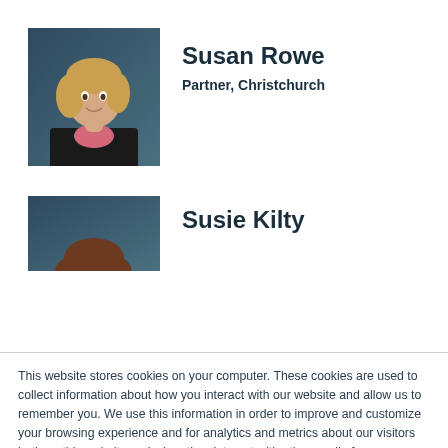[Figure (photo): Professional headshot of Susan Rowe, a blonde woman in a black blazer and pink top, against a dark blue-grey background]
Susan Rowe
Partner, Christchurch
[Figure (photo): Partial photo of Susie Kilty, showing top of head with brown hair, against a dark blue-grey background]
Susie Kilty
This website stores cookies on your computer. These cookies are used to collect information about how you interact with our website and allow us to remember you. We use this information in order to improve and customize your browsing experience and for analytics and metrics about our visitors both on this website and when they interact with other media from us (including email, social media and landing pages). To find out more about the cookies we use, see our Privacy Policy.